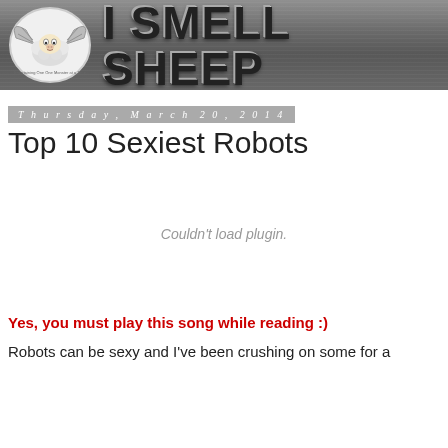[Figure (logo): I Smell Sheep website header banner with cartoon sheep logo on left and bold metallic text 'I SMELL SHEEP' on dark gray textured background]
Thursday, March 20, 2014
Top 10 Sexiest Robots
Couldn't load plugin.
Yes, you must play this song while reading :)
Robots can be sexy and I've been crushing on some for a